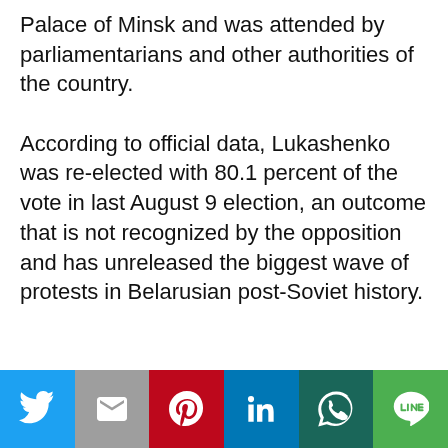Palace of Minsk and was attended by parliamentarians and other authorities of the country.
According to official data, Lukashenko was re-elected with 80.1 percent of the vote in last August 9 election, an outcome that is not recognized by the opposition and has unreleased the biggest wave of protests in Belarusian post-Soviet history.
Opposition threatens indefinite protests
In reaction to the investiture, the Belarusian opposition today announced indefinite protests:
"We will never accept fraud and demand new
Esta web usa cookies.
Social share buttons: Twitter, Gmail, Pinterest, LinkedIn, WhatsApp, Line